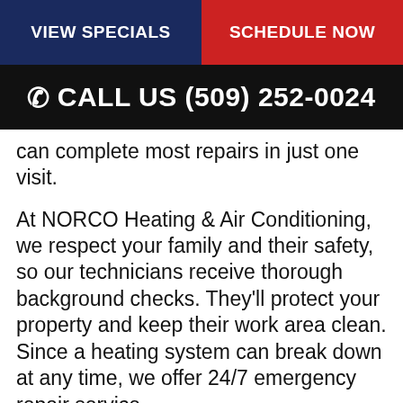VIEW SPECIALS | SCHEDULE NOW
CALL US (509) 252-0024
can complete most repairs in just one visit.
At NORCO Heating & Air Conditioning, we respect your family and their safety, so our technicians receive thorough background checks. They'll protect your property and keep their work area clean. Since a heating system can break down at any time, we offer 24/7 emergency repair service.